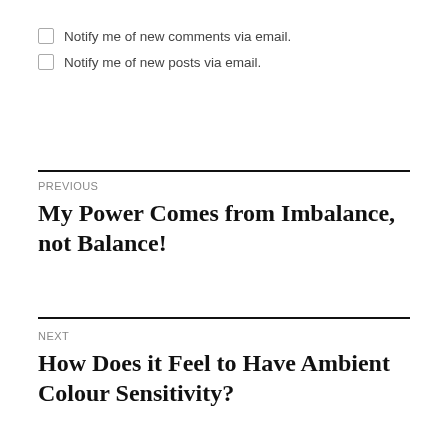Notify me of new comments via email.
Notify me of new posts via email.
PREVIOUS
My Power Comes from Imbalance, not Balance!
NEXT
How Does it Feel to Have Ambient Colour Sensitivity?